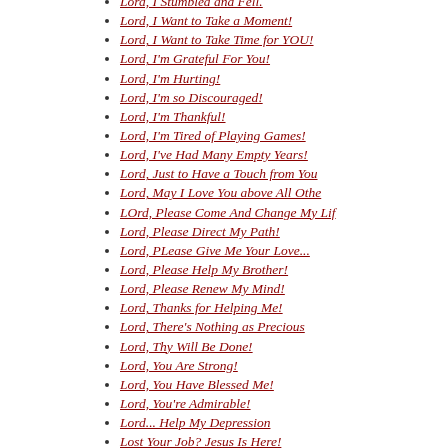Lord, I Stumbled and Fell.
Lord, I Want to Take a Moment!
Lord, I Want to Take Time for YOU!
Lord, I'm Grateful For You!
Lord, I'm Hurting!
Lord, I'm so Discouraged!
Lord, I'm Thankful!
Lord, I'm Tired of Playing Games!
Lord, I've Had Many Empty Years!
Lord, Just to Have a Touch from You
Lord, May I Love You above All Othe
LOrd, Please Come And Change My Lif
Lord, Please Direct My Path!
Lord, PLease Give Me Your Love...
Lord, Please Help My Brother!
Lord, Please Renew My Mind!
Lord, Thanks for Helping Me!
Lord, There's Nothing as Precious
Lord, Thy Will Be Done!
Lord, You Are Strong!
Lord, You Have Blessed Me!
Lord, You're Admirable!
Lord... Help My Depression
Lost Your Job? Jesus Is Here!
Love Sent Jesus To The Cross!
Love the Lord Thy God!
Love the Lord Your God!
Loving God Is More Than Words!
Loving Jesus 101
Loving Jesus Is What's Best For Me!
Loving Jesus the Old Fashioned Way!